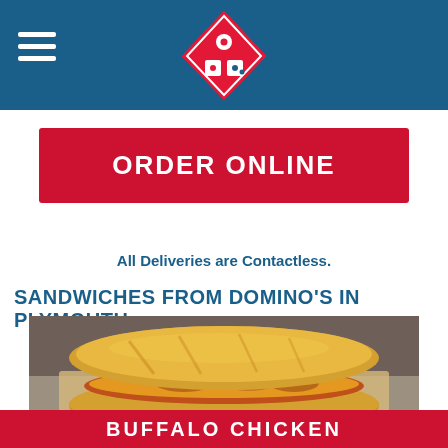[Figure (logo): Domino's Pizza logo — red and blue diamond shape with two white dots, centered in blue header bar]
ORDER ONLINE
All Deliveries are Contactless.
SANDWICHES FROM DOMINO'S IN PLYMOUTH
[Figure (photo): Close-up photo of a Domino's buffalo chicken sandwich on a hoagie roll with melted cheese, chicken, and red sauce, placed on parchment paper on a metal tray]
BUFFALO CHICKEN